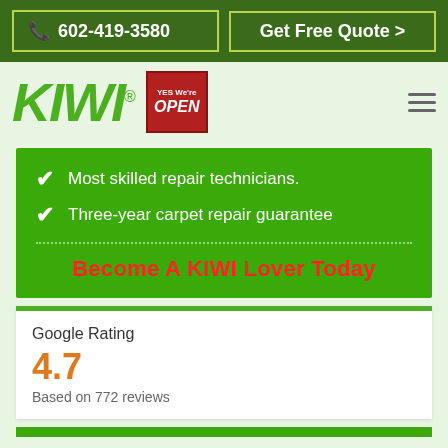602-419-3580
Get Free Quote >
[Figure (logo): KIWI logo with registered trademark symbol and Yes We're Open badge]
Most skilled repair technicians.
Three-year carpet repair guarantee
Become A KIWI Lover Today
Google Rating
4.7
Based on 772 reviews